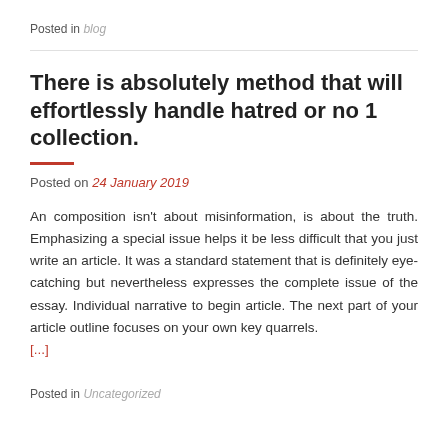Posted in blog
There is absolutely method that will effortlessly handle hatred or no 1 collection.
Posted on 24 January 2019
An composition isn't about misinformation, is about the truth. Emphasizing a special issue helps it be less difficult that you just write an article. It was a standard statement that is definitely eye-catching but nevertheless expresses the complete issue of the essay. Individual narrative to begin article. The next part of your article outline focuses on your own key quarrels. [...]
Posted in Uncategorized